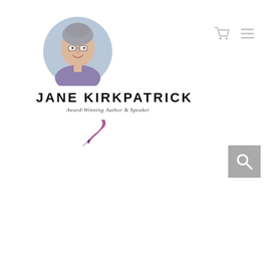[Figure (photo): Circular portrait photo of Jane Kirkpatrick, a woman with short grey hair, smiling, wearing glasses and a purple top]
JANE KIRKPATRICK
Award-Winning Author & Speaker
[Figure (illustration): Purple quill/pen signature illustration]
[Figure (other): Shopping cart icon and hamburger menu icon in light grey]
[Figure (other): Grey search button with magnifying glass icon]